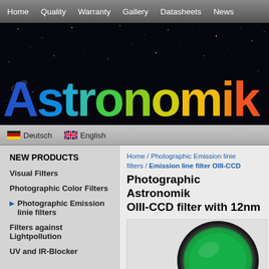Home / Quality / Warranty / Gallery / Datasheets / News
[Figure (logo): Astronomik logo with colorful gradient text on a dark starfield background]
Deutsch   English
NEW PRODUCTS
Visual Filters
Photographic Color Filters
Photographic Emission linie filters
Filters against Lightpollution
UV and IR-Blocker
Home / Photographic Emission linie filters / Emission line filter OIII-CCD
Photographic Astronomik OIII-CCD filter with 12nm
[Figure (photo): Astronomik OIII-CCD filter — a circular optical filter with green glass and black anodized aluminum ring, viewed slightly at an angle]